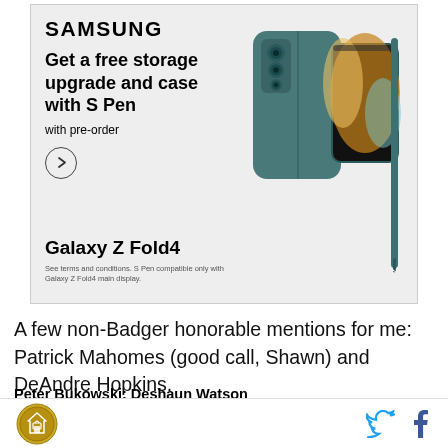[Figure (infographic): Samsung Galaxy Z Fold4 advertisement. Shows Samsung logo, headline 'Get a free storage upgrade and case with S Pen', subtext 'with pre-order', a circular arrow button, product name 'Galaxy Z Fold4', disclaimer text, and product image of phone with S Pen.]
A few non-Badger honorable mentions for me: Patrick Mahomes (good call, Shawn) and DeAndre Hopkins.
Peter Bukowski: Deshaun Watson
Let me go football hipster on the Patrick Mahomes